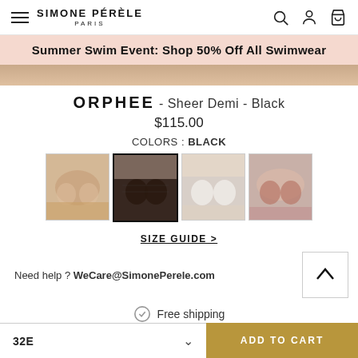SIMONE PÉRÈLE PARIS
Summer Swim Event: Shop 50% Off All Swimwear
ORPHEE - Sheer Demi - Black
$115.00
COLORS : BLACK
[Figure (photo): Four color variant thumbnail photos of the ORPHEE Sheer Demi bra: ivory/nude, black (selected), white, and mauve/berry]
SIZE GUIDE >
Need help ? WeCare@SimonePerele.com
Free shipping
32E
ADD TO CART